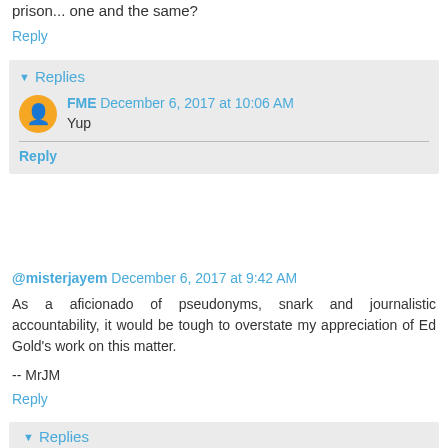prison... one and the same?
Reply
▾ Replies
FME December 6, 2017 at 10:06 AM
Yup
Reply
@misterjayem December 6, 2017 at 9:42 AM
As a aficionado of pseudonyms, snark and journalistic accountability, it would be tough to overstate my appreciation of Ed Gold's work on this matter.
-- MrJM
Reply
▾ Replies